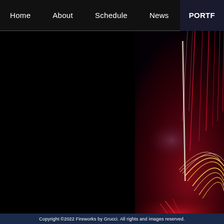Home   About   Schedule   News   PORTF...
[Figure (photo): Fireworks display against a dark red smoky night sky, with streaks of white and gold sparks arcing in the lower portion and red light trails descending from above against a dark background.]
Copyright ©2022 Fireworks by Grucci.  All rights and images reserved.